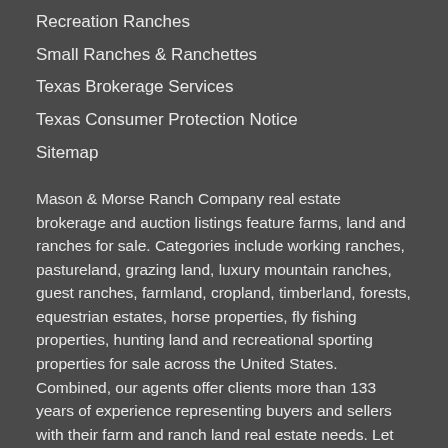Recreation Ranches
Small Ranches & Ranchettes
Texas Brokerage Services
Texas Consumer Protection Notice
Sitemap
Mason & Morse Ranch Company real estate brokerage and auction listings feature farms, land and ranches for sale. Categories include working ranches, pastureland, grazing land, luxury mountain ranches, guest ranches, farmland, cropland, timberland, forests, equestrian estates, horse properties, fly fishing properties, hunting land and recreational sporting properties for sale across the United States. Combined, our agents offer clients more than 133 years of experience representing buyers and sellers with their farm and ranch land real estate needs. Let us put our experience to work for you..."We live it to know it."